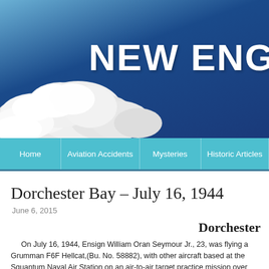[Figure (photo): Website header banner with blue sky and clouds background, with bold white text reading 'NEW ENG' (truncated)]
Home | Aviation Accidents | Mysteries | Historic Articles
Dorchester Bay – July 16, 1944
June 6, 2015
Dorchester
On July 16, 1944, Ensign William Oran Seymour Jr., 23, was flying a Grumman F6F Hellcat,(Bu. No. 58882), with other aircraft based at the Squantum Naval Air Station on an air-to-air target practice mission over Dorchester Bay. (Seymour's aircraft was assigned to tow a cloth target sleeve behind it while other aircraft made simulated attack runs.)